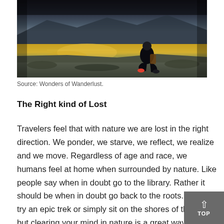[Figure (photo): Person sitting by a reflective lake or body of water, viewed from behind, dark silhouette against a colorful landscape with golden reflections in the water.]
Source: Wonders of Wanderlust.
The Right kind of Lost
Travelers feel that with nature we are lost in the right direction. We ponder, we starve, we reflect, we realize and we move. Regardless of age and race, we humans feel at home when surrounded by nature. Like people say when in doubt go to the library. Rather it should be when in doubt go back to the roots. You can try an epic trek or simply sit on the shores of the sea, but clearing your mind in nature is a great way to help you hit the reset button. Watch the leaves float away or just hear the rhythmic sound of waters. Nature heals, soothes, and restores.